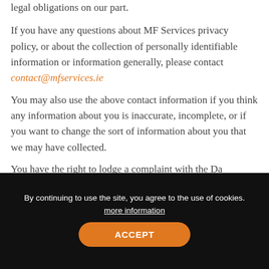legal obligations on our part.
If you have any questions about MF Services privacy policy, or about the collection of personally identifiable information or information generally, please contact contact@mfservices.ie
You may also use the above contact information if you think any information about you is inaccurate, incomplete, or if you want to change the sort of information about you that we may have collected.
You have the right to lodge a complaint with the Da...
By continuing to use the site, you agree to the use of cookies. more information
ACCEPT